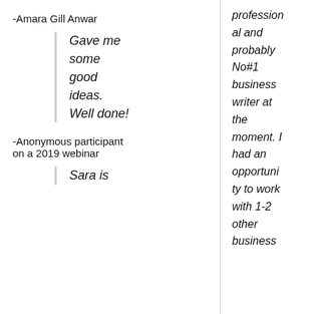-Amara Gill Anwar
Gave me some good ideas. Well done!
professional and probably No#1 business writer at the moment. I had an opportunity to work with 1-2 other business
-Anonymous participant on a 2019 webinar
Sara is